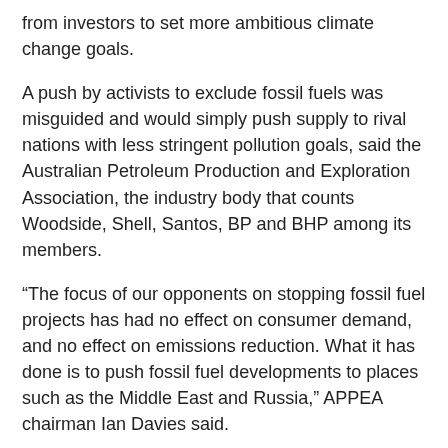from investors to set more ambitious climate change goals.
A push by activists to exclude fossil fuels was misguided and would simply push supply to rival nations with less stringent pollution goals, said the Australian Petroleum Production and Exploration Association, the industry body that counts Woodside, Shell, Santos, BP and BHP among its members.
“The focus of our opponents on stopping fossil fuel projects has had no effect on consumer demand, and no effect on emissions reduction. What it has done is to push fossil fuel developments to places such as the Middle East and Russia,” APPEA chairman Ian Davies said.
“This has created a supply crunch and has raised prices, hurting people and economies around the globe.”
Chevron, which operates the giant Gorgon and Wheatstone LNG projects in Western Australia, tipped ongoing price and supply volatility.
“There are going to be disruptive forces that move the